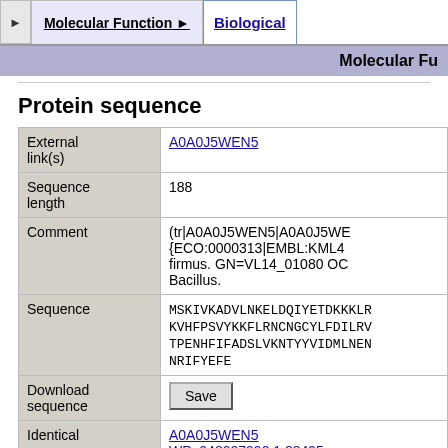Molecular Function | Biological
Molecular Fu
Protein sequence
| Field | Value |
| --- | --- |
| External link(s) | A0A0J5WEN5 |
| Sequence length | 188 |
| Comment | (tr|A0A0J5WEN5|A0A0J5WE {ECO:0000313|EMBL:KML4 firmus. GN=VL14_01080 OC Bacillus. |
| Sequence | MSKIVKADVLNKELDQIYETDKKKLR KVHFPSVYKKFLRNCNGCYLFDILRV TPENHFIFADSLVKNTYYVIDMLNEN NRIFYEFE |
| Download sequence | Save |
| Identical sequences | A0A0J5WEN5
WP_048007990.1.88495 |